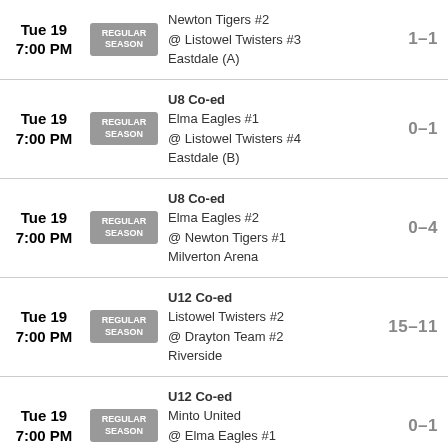Tue 19 7:00 PM | REGULAR SEASON | Newton Tigers #2 @ Listowel Twisters #3 Eastdale (A) | 1-1
Tue 19 7:00 PM | REGULAR SEASON | U8 Co-ed Elma Eagles #1 @ Listowel Twisters #4 Eastdale (B) | 0-1
Tue 19 7:00 PM | REGULAR SEASON | U8 Co-ed Elma Eagles #2 @ Newton Tigers #1 Milverton Arena | 0-4
Tue 19 7:00 PM | REGULAR SEASON | U12 Co-ed Listowel Twisters #2 @ Drayton Team #2 Riverside | 15-11
Tue 19 7:00 PM | REGULAR SEASON | U12 Co-ed Minto United @ Elma Eagles #1 Elma PS (C) | 0-1
Tue 19 7:00 PM | REGULAR SEASON | U12 Co-ed